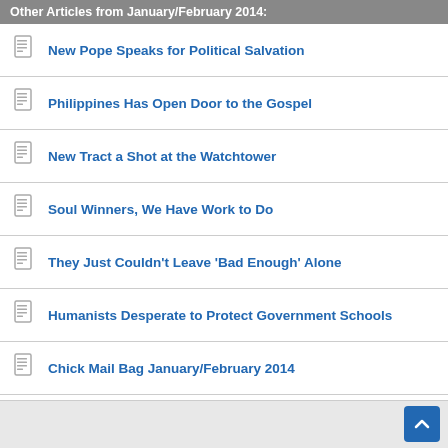Other Articles from January/February 2014:
New Pope Speaks for Political Salvation
Philippines Has Open Door to the Gospel
New Tract a Shot at the Watchtower
Soul Winners, We Have Work to Do
They Just Couldn't Leave 'Bad Enough' Alone
Humanists Desperate to Protect Government Schools
Chick Mail Bag January/February 2014